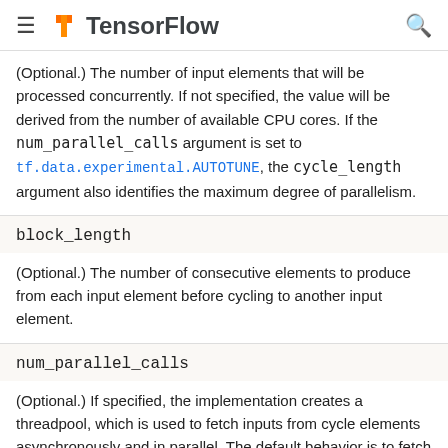TensorFlow
(Optional.) The number of input elements that will be processed concurrently. If not specified, the value will be derived from the number of available CPU cores. If the num_parallel_calls argument is set to tf.data.experimental.AUTOTUNE, the cycle_length argument also identifies the maximum degree of parallelism.
block_length
(Optional.) The number of consecutive elements to produce from each input element before cycling to another input element.
num_parallel_calls
(Optional.) If specified, the implementation creates a threadpool, which is used to fetch inputs from cycle elements asynchronously and in parallel. The default behavior is to fetch inputs from cycle elements synchronously with no parallelism. If the value tf.data.experimental.AUTOTUNE is used, then the number of parallel calls is set dynamically based on available CPU.